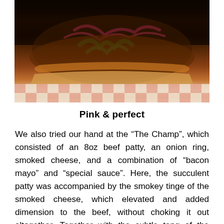[Figure (photo): Close-up photo of a burger being held up, showing layers of beef patty, green peppers, red onions, and melted cheese on a red-and-white checkered tablecloth background.]
Pink & perfect
We also tried our hand at the “The Champ”, which consisted of an 8oz beef patty, an onion ring, smoked cheese, and a combination of “bacon mayo” and “special sauce”. Here, the succulent patty was accompanied by the smokey tinge of the smoked cheese, which elevated and added dimension to the beef, without choking it out altogether. Together with the subtle tang of the “bacon mayo” and “special sauce” combination, The Champ was satisfying in its